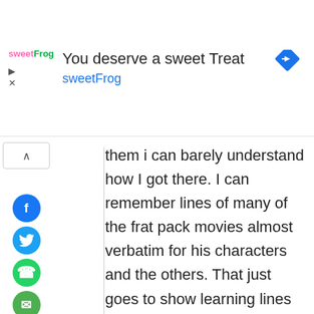[Figure (screenshot): Advertisement banner for sweetFrog: text 'You deserve a sweet Treat' with sweetFrog logo, blue navigation arrow icon, play and close icons.]
them i can barely understand how I got there. I can remember lines of many of the frat pack movies almost verbatim for his characters and the others. That just goes to show learning lines is not a hassle. Making movoes is a business and hiring people which increase the cost of production with more takes and editting is not something you want. I can deliver I would understand its not all fun and games but an opportunity.